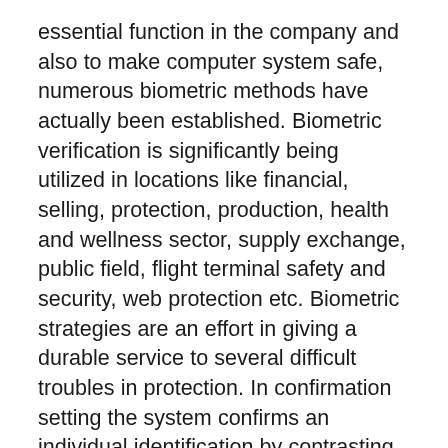essential function in the company and also to make computer system safe, numerous biometric methods have actually been established. Biometric verification is significantly being utilized in locations like financial, selling, protection, production, health and wellness sector, supply exchange, public field, flight terminal safety and security, web protection etc. Biometric strategies are an effort in giving a durable service to several difficult troubles in protection. In confirmation setting the system confirms an individual identification by contrasting the caught biometric information with the biometric design template saved in the data source and also is primarily made use of for favorable acknowledgment. In the recognition setting